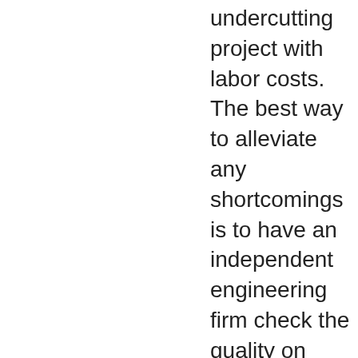undercutting project with labor costs. The best way to alleviate any shortcomings is to have an independent engineering firm check the quality on completion of taxpayer funded projections (1% of the cost of the mechanical insulation project to use for post-insulation inspection/commissioning) This would ensure the stakeholder gets the best quality job and long-term performance.